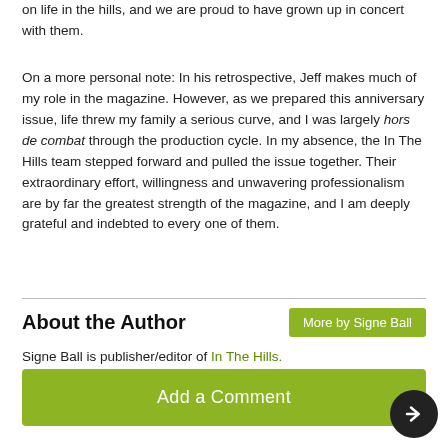on life in the hills, and we are proud to have grown up in concert with them.
On a more personal note: In his retrospective, Jeff makes much of my role in the magazine. However, as we prepared this anniversary issue, life threw my family a serious curve, and I was largely hors de combat through the production cycle. In my absence, the In The Hills team stepped forward and pulled the issue together. Their extraordinary effort, willingness and unwavering professionalism are by far the greatest strength of the magazine, and I am deeply grateful and indebted to every one of them.
About the Author
More by Signe Ball
Signe Ball is publisher/editor of In The Hills.
Add a Comment